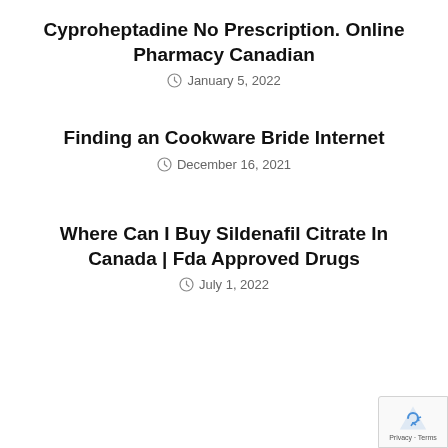Cyproheptadine No Prescription. Online Pharmacy Canadian
January 5, 2022
Finding an Cookware Bride Internet
December 16, 2021
Where Can I Buy Sildenafil Citrate In Canada | Fda Approved Drugs
July 1, 2022